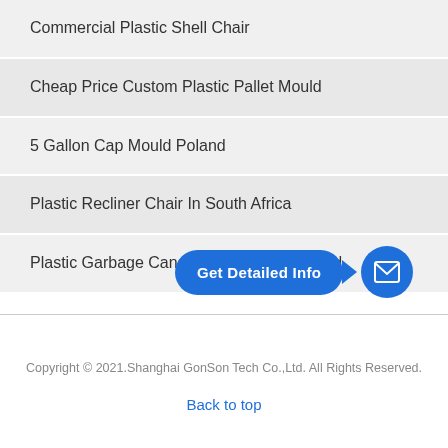Commercial Plastic Shell Chair
Cheap Price Custom Plastic Pallet Mould
5 Gallon Cap Mould Poland
Plastic Recliner Chair In South Africa
Plastic Garbage Cans Mould In Queensland
[Figure (other): Get Detailed Info button with mail icon overlay]
Copyright © 2021.Shanghai GonSon Tech Co.,Ltd. All Rights Reserved.
Back to top